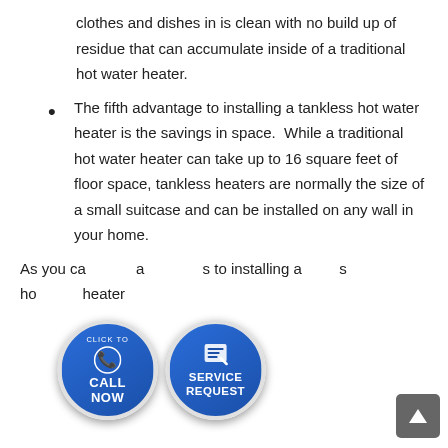clothes and dishes in is clean with no build up of residue that can accumulate inside of a traditional hot water heater.
The fifth advantage to installing a tankless hot water heater is the savings in space.  While a traditional hot water heater can take up to 16 square feet of floor space, tankless heaters are normally the size of a small suitcase and can be installed on any wall in your home.
As you ca a s to installing a s ho heater
[Figure (infographic): Two overlapping circular buttons: 'Click to Call Now' with phone icon (blue) and 'Service Request' with notepad icon (blue), overlaid on the bottom portion of the text content.]
[Figure (other): Gray scroll-to-top button with upward arrow in bottom-right corner.]